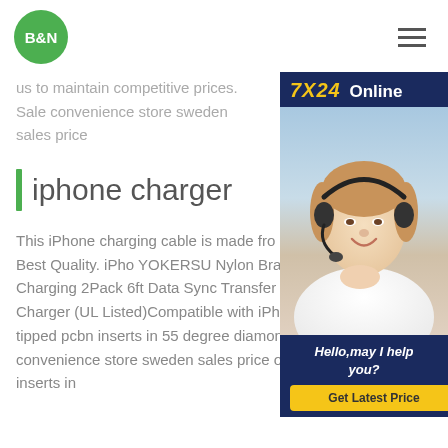B&N
us to maintain competitive prices. Sale convenience store sweden sales price
[Figure (photo): 7X24 Online chat widget with a customer service representative wearing a headset. Includes 'Hello, may I help you?' text and 'Get Latest Price' button.]
iphone charger
This iPhone charging cable is made from has a 6-foot length. Best Quality. iPhone YOKERSU Nylon Braided Lightning Cable Charging 2Pack 6ft Data Sync Transfer Cord 2 Port Plug Wall Charger (UL Listed)Compatible with iPhone 11 Pro Max XS tipped pcbn inserts in 55 degree diamond shape D for hard convenience store sweden sales price of ss sheettipped pcbn inserts in 55 degree diamond shape D for hard convenience store